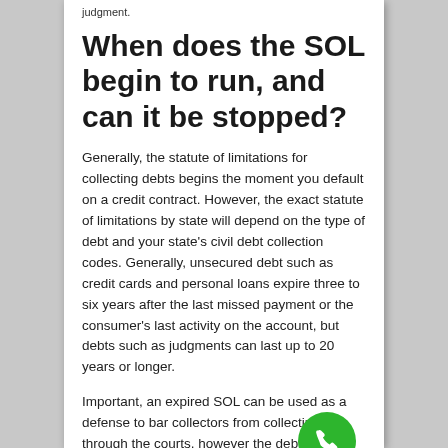judgment.
When does the SOL begin to run, and can it be stopped?
Generally, the statute of limitations for collecting debts begins the moment you default on a credit contract. However, the exact statute of limitations by state will depend on the type of debt and your state's civil debt collection codes. Generally, unsecured debt such as credit cards and personal loans expire three to six years after the last missed payment or the consumer's last activity on the account, but debts such as judgments can last up to 20 years or longer.
Important, an expired SOL can be used as a defense to bar collectors from collecting through the courts, however the debt DOES NOT go away! Collectors can still attempt to
[Figure (illustration): Green circular phone button icon with white telephone handset symbol]